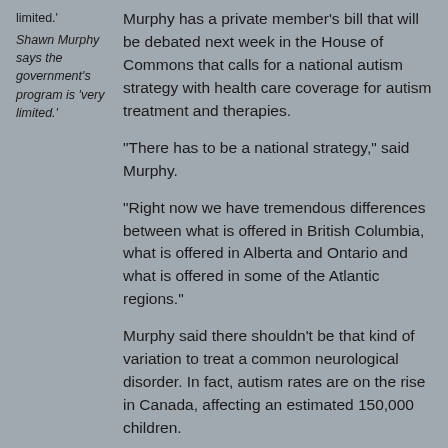limited.' Shawn Murphy says the government's program is 'very limited.'
Murphy has a private member's bill that will be debated next week in the House of Commons that calls for a national autism strategy with health care coverage for autism treatment and therapies.
"There has to be a national strategy," said Murphy.
"Right now we have tremendous differences between what is offered in British Columbia, what is offered in Alberta and Ontario and what is offered in some of the Atlantic regions."
Murphy said there shouldn't be that kind of variation to treat a common neurological disorder. In fact, autism rates are on the rise in Canada, affecting an estimated 150,000 children.
"It's mind-boggling, the difference. This is a health issue. It's not a social services issue. It's a health issue. And it should